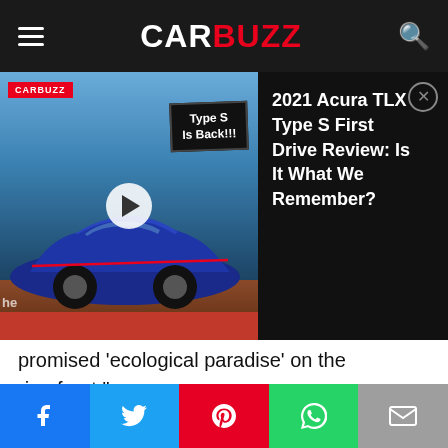CARBUZZ
[Figure (screenshot): Video thumbnail for '2021 Acura TLX Type S First Drive Review: Is It What We Remember?' showing a blue Acura TLX Type S on a track with CarBuzz logo and Type S Is Back!!! badge overlay]
2021 Acura TLX Type S First Drive Review: Is It What We Remember?
promised 'ecological paradise' on the riverfront."
That last quote is in reference to Musk saying that stated the factory would be "an ecological paradise - birds in the trees, butterflies, and fish." Whether the Austin government decides to act on this remains to
[Figure (screenshot): Advertisement for World Market: Pop in & Shop New Arrivals with World Market branding and blue diamond navigation icon]
Social share buttons: Facebook, Twitter, Pinterest, WhatsApp, Email